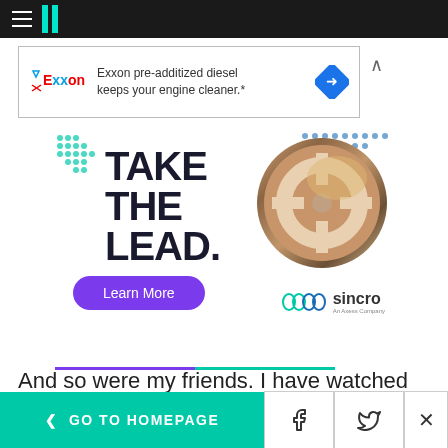HuffPost navigation bar with hamburger menu and logo
[Figure (other): Exxon pre-additized diesel advertisement banner with Exxon logo and blue diamond icon]
[Figure (other): Sincro 'Take The Lead' advertisement with bold text, circular steering wheel photo, Learn More button, and Sincro An Axess Company branding]
And so were my friends. I have watched every
< GO TO HOMEPAGE | Facebook | Twitter | X